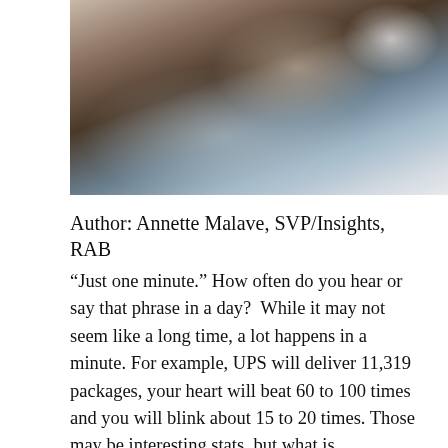[Figure (photo): A person lying in bed wearing a white t-shirt and white headphones, resting on white pillows]
Author: Annette Malave, SVP/Insights, RAB
“Just one minute.” How often do you hear or say that phrase in a day?  While it may not seem like a long time, a lot happens in a minute. For example, UPS will deliver 11,319 packages, your heart will beat 60 to 100 times and you will blink about 15 to 20 times. Those may be interesting stats, but what is fascinating is the amount of data that is generated in one minute.